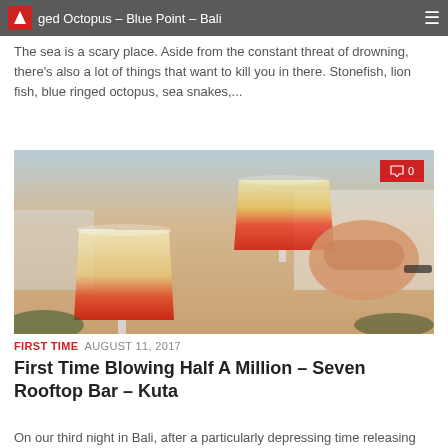ged Octopus – Blue Point – Bali
The sea is a scary place. Aside from the constant threat of drowning, there's also a lot of things that want to kill you in there. Stonefish, lion fish, blue ringed octopus, sea snakes,...
[Figure (photo): Two cocktail martini glasses being toasted together, with layered red and yellow drinks, against a background showing an ocean view at dusk. Comment badge showing 0 comments.]
FIRST TIME  AUGUST 11, 2017
First Time Blowing Half A Million – Seven Rooftop Bar – Kuta
On our third night in Bali, after a particularly depressing time releasing